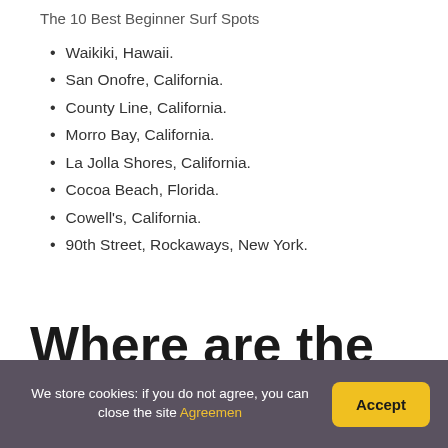The 10 Best Beginner Surf Spots
Waikiki, Hawaii.
San Onofre, California.
County Line, California.
Morro Bay, California.
La Jolla Shores, California.
Cocoa Beach, Florida.
Cowell's, California.
90th Street, Rockaways, New York.
Where are the best waves in the United
We store cookies: if you do not agree, you can close the site Agreemen